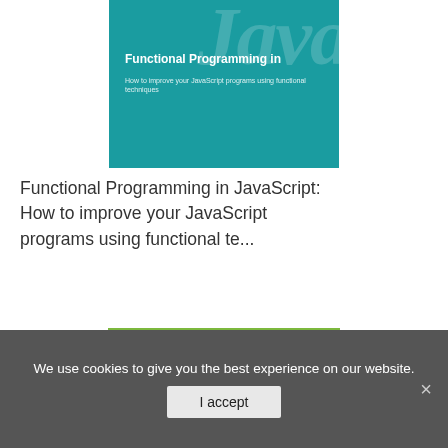[Figure (illustration): Teal book cover: Functional Programming in JavaScript with large italic 'Java' text in background]
Functional Programming in JavaScript: How to improve your JavaScript programs using functional te...
[Figure (illustration): Green Microsoft book cover: Programming in HTML5 with JavaScript and CSS3, with Microsoft logo and circular badge decoration]
We use cookies to give you the best experience on our website.
I accept